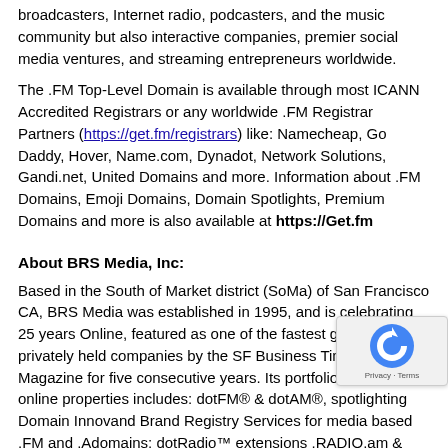broadcasters, Internet radio, podcasters, and the music community but also interactive companies, premier social media ventures, and streaming entrepreneurs worldwide.
The .FM Top-Level Domain is available through most ICANN Accredited Registrars or any worldwide .FM Registrar Partners (https://get.fm/registrars) like: Namecheap, Go Daddy, Hover, Name.com, Dynadot, Network Solutions, Gandi.net, United Domains and more. Information about .FM Domains, Emoji Domains, Domain Spotlights, Premium Domains and more is also available at https://Get.fm
About BRS Media, Inc:
Based in the South of Market district (SoMa) of San Francisco CA, BRS Media was established in 1995, and is celebrating 25 years Online, featured as one of the fastest growing privately held companies by the SF Business Times and Inc. Magazine for five consecutive years. Its portfolio of leading online properties includes: dotFM® & dotAM®, spotlighting Domain Inno... and Brand Registry Services for media based .FM and .A... domains; dotRadio™ extensions .RADIO.am & .RADIO.fm... Radio's only Open & Innovative Domain Extensions; Main Street...